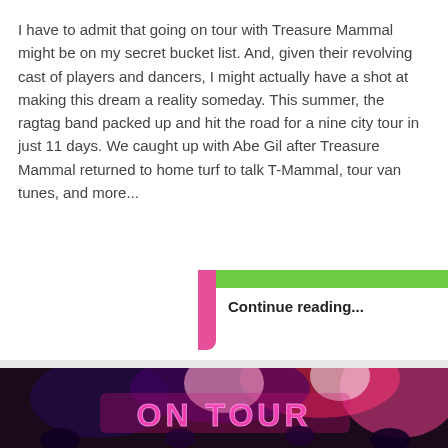I have to admit that going on tour with Treasure Mammal might be on my secret bucket list. And, given their revolving cast of players and dancers, I might actually have a shot at making this dream a reality someday. This summer, the ragtag band packed up and hit the road for a nine city tour in just 11 days. We caught up with Abe Gil after Treasure Mammal returned to home turf to talk T-Mammal, tour van tunes, and more...
Continue reading...
[Figure (photo): Concert photo showing colorful neon 'ON TOUR' sign with performers and audience, with pink and red stage lighting]